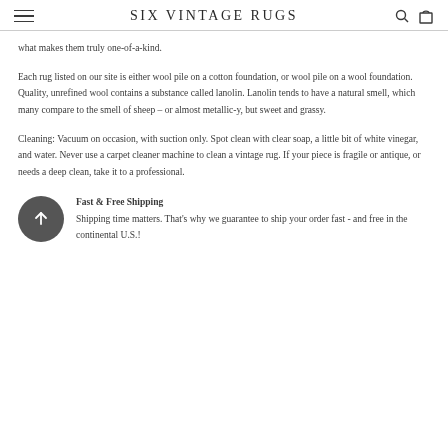SIX VINTAGE RUGS
what makes them truly one-of-a-kind.
Each rug listed on our site is either wool pile on a cotton foundation, or wool pile on a wool foundation. Quality, unrefined wool contains a substance called lanolin. Lanolin tends to have a natural smell, which many compare to the smell of sheep – or almost metallic-y, but sweet and grassy.
Cleaning: Vacuum on occasion, with suction only. Spot clean with clear soap, a little bit of white vinegar, and water. Never use a carpet cleaner machine to clean a vintage rug. If your piece is fragile or antique, or needs a deep clean, take it to a professional.
Fast & Free Shipping
Shipping time matters. That's why we guarantee to ship your order fast - and free in the continental U.S.!